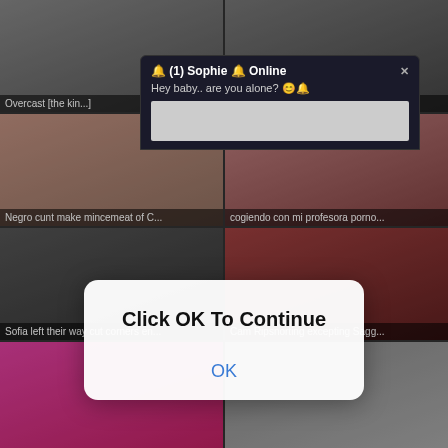[Figure (screenshot): Grid of video thumbnails from an adult website with a browser notification popup and a dialog box overlay saying 'Click OK To Continue' with an OK button]
Overcast [title text partially hidden]
Negro cunt make mincement of C...
cogiendo con mi profesora porno...
Sofia left their way cut corners en...
Cam Ripsnorting excepting Sagg...
🔔 (1) Sophie 🔔 Online
Hey baby.. are you alone? 😊🔔
Click OK To Continue
OK